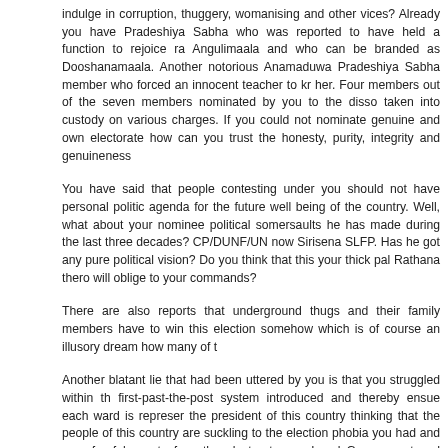indulge in corruption, thuggery, womanising and other vices? Already you have Pradeshiya Sabha who was reported to have held a function to rejoice ra Angulimaala and who can be branded as Dooshanamaala. Another notorious Anamaduwa Pradeshiya Sabha member who forced an innocent teacher to kr her. Four members out of the seven members nominated by you to the disso taken into custody on various charges. If you could not nominate genuine and own electorate how can you trust the honesty, purity, integrity and genuineness
You have said that people contesting under you should not have personal politic agenda for the future well being of the country. Well, what about your nominee political somersaults he has made during the last three decades? CP/DUNF/UN now Sirisena SLFP. Has he got any pure political vision? Do you think that this your thick pal Rathana thero will oblige to your commands?
There are also reports that underground thugs and their family members have to win this election somehow which is of course an illusory dream how many of t
Another blatant lie that had been uttered by you is that you struggled within th first-past-the-post system introduced and thereby ensue each ward is represer the president of this country thinking that the people of this country are suckling to the election phobia you had and your fearfulness to face the electorate you Local Government and Provincial Councils Faizer Mustapha to postpone the former members of the Municipal Councils, Urban councils and Pradeshiya S elections by indulging in continuous agitations. Do you remember the is government deliberately delayed and even cancelled after issuance?
It seems that the UNP has already decided to ditch you after this local governm TNA and even with the support of opportunist JVP. It seems that some of your